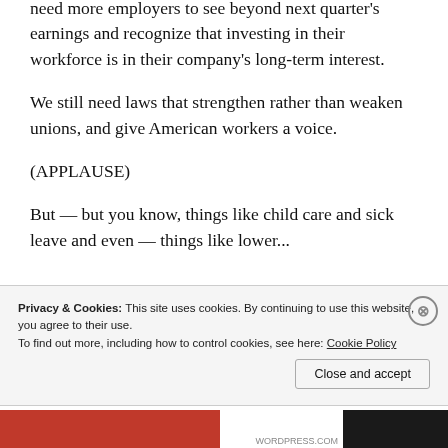need more employers to see beyond next quarter's earnings and recognize that investing in their workforce is in their company's long-term interest.
We still need laws that strengthen rather than weaken unions, and give American workers a voice.
(APPLAUSE)
But — but you know, things like child care and sick leave and even — things like lower...
Privacy & Cookies: This site uses cookies. By continuing to use this website, you agree to their use. To find out more, including how to control cookies, see here: Cookie Policy
Close and accept